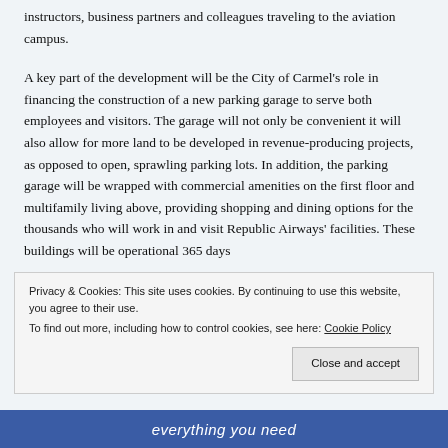instructors, business partners and colleagues traveling to the aviation campus.
A key part of the development will be the City of Carmel's role in financing the construction of a new parking garage to serve both employees and visitors. The garage will not only be convenient it will also allow for more land to be developed in revenue-producing projects, as opposed to open, sprawling parking lots. In addition, the parking garage will be wrapped with commercial amenities on the first floor and multifamily living above, providing shopping and dining options for the thousands who will work in and visit Republic Airways' facilities. These buildings will be operational 365 days
Privacy & Cookies: This site uses cookies. By continuing to use this website, you agree to their use.
To find out more, including how to control cookies, see here: Cookie Policy
[Figure (other): Blue banner at the bottom with white italic text reading 'everything you need']